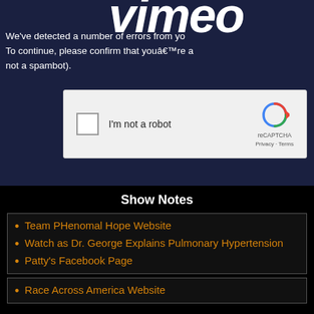Vimeo
We've detected a number of errors from your IP address recently. To continue, please confirm that youâ€™re a human (and not a spambot).
[Figure (screenshot): reCAPTCHA widget with checkbox labeled 'I'm not a robot' and reCAPTCHA logo with Privacy and Terms links]
Show Notes
Team PHenomal Hope Website
Watch as Dr. George Explains Pulmonary Hypertension
Patty's Facebook Page
Race Across America Website